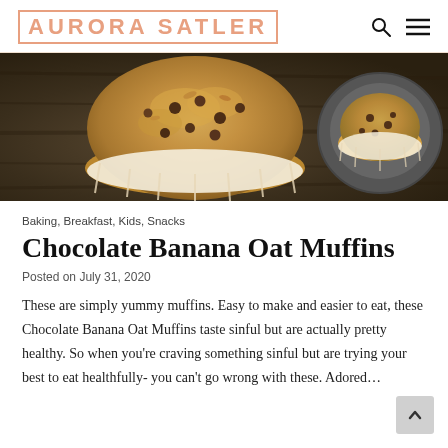AURORA SATLER
[Figure (photo): Overhead photo of chocolate banana oat muffins in paper liners on a dark wooden surface, with a muffin tin visible in the background.]
Baking, Breakfast, Kids, Snacks
Chocolate Banana Oat Muffins
Posted on July 31, 2020
These are simply yummy muffins. Easy to make and easier to eat, these Chocolate Banana Oat Muffins taste sinful but are actually pretty healthy. So when you're craving something sinful but are trying your best to eat healthfully- you can't go wrong with these. Adored...